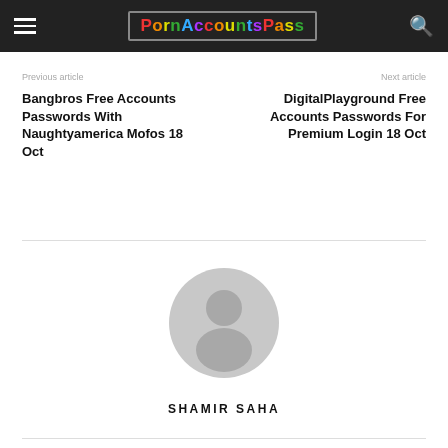PornAccountsPass
Previous article
Bangbros Free Accounts Passwords With Naughtyamerica Mofos 18 Oct
Next article
DigitalPlayground Free Accounts Passwords For Premium Login 18 Oct
[Figure (illustration): Gray circular avatar/profile placeholder icon with head and shoulders silhouette]
SHAMIR SAHA